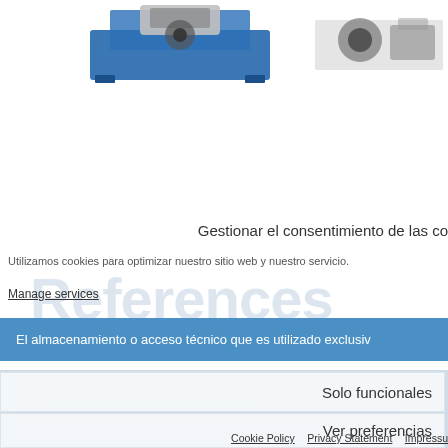[Figure (photo): Industrial equipment machinery on blue frame, partial top view]
[Figure (photo): Industrial pump or motor equipment, partial top view]
Gestionar el consentimiento de las co
[Figure (illustration): Watermark text: References]
Utilizamos cookies para optimizar nuestro sitio web y nuestro servicio.
Manage services
El almacenamiento o acceso técnico que es utilizado exclusiv
Solo funcionales
Ver preferencias
Cookie Policy   Privacy Statement   Impressu...